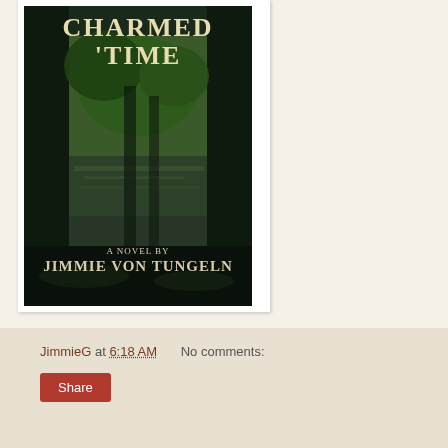[Figure (illustration): Book cover of 'Charmed Time', a novel by Jimmie von Tungeln. Cover shows a dark forested swamp scene with trees, water reflections, and Spanish moss. Title text 'Charmed Time' appears at top in cream/tan serif font. Bottom reads 'A Novel By Jimmie von Tungeln' in similar styling.]
JimmieG at 6:18 AM    No comments:
Share